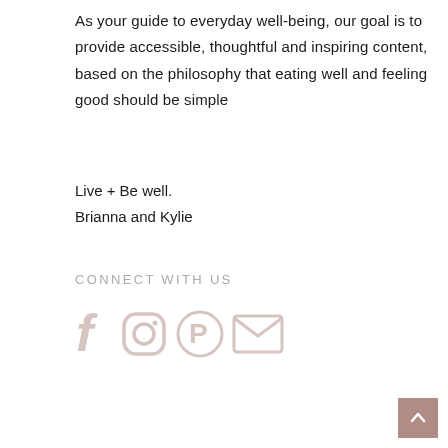As your guide to everyday well-being, our goal is to provide accessible, thoughtful and inspiring content, based on the philosophy that eating well and feeling good should be simple
Live + Be well.
Brianna and Kylie
CONNECT WITH US
[Figure (illustration): Social media icons: Facebook, Instagram, Pinterest, Email — rendered in light pinkish-grey color]